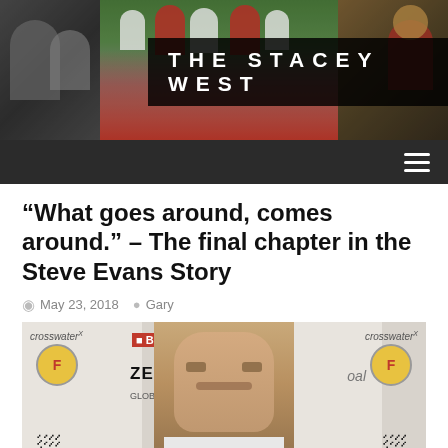[Figure (photo): The Stacey West blog header banner with sports crowd photos on left and right, and 'THE STACEY WEST' text overlay in center on dark background]
THE STACEY WEST
“What goes around, comes around.” – The final chapter in the Steve Evans Story
May 23, 2018  Gary
[Figure (photo): Steve Evans at a press conference with sponsor backdrop showing crosswater, Burflex, Kappa, Zebra Global, opal, Foster's, and HelpLink logos]